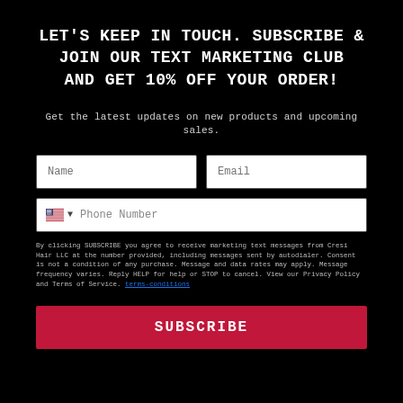LET'S KEEP IN TOUCH. SUBSCRIBE & JOIN OUR TEXT MARKETING CLUB AND GET 10% OFF YOUR ORDER!
Get the latest updates on new products and upcoming sales.
By clicking SUBSCRIBE you agree to receive marketing text messages from Cresi Hair LLC at the number provided, including messages sent by autodialer. Consent is not a condition of any purchase. Message and data rates may apply. Message frequency varies. Reply HELP for help or STOP to cancel. View our Privacy Policy and Terms of Service. terms-conditions
SUBSCRIBE